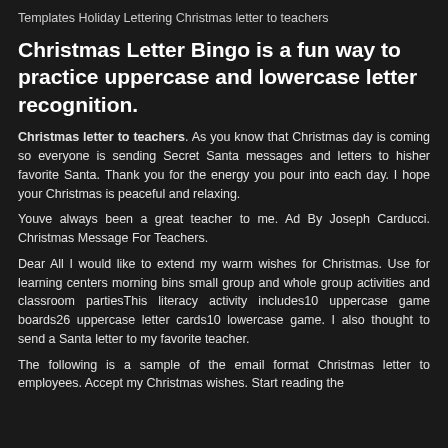Templates Holiday Lettering Christmas letter to teachers
Christmas Letter Bingo is a fun way to practice uppercase and lowercase letter recognition.
Christmas letter to teachers. As you know that Christmas day is coming so everyone is sending Secret Santa messages and letters to hisher favorite Santa. Thank you for the energy you pour into each day. I hope your Christmas is peaceful and relaxing.
Youve always been a great teacher to me. Ad By Joseph Carducci. Christmas Message For Teachers.
Dear All I would like to extend my warm wishes for Christmas. Use for learning centers morning bins small group and whole group activities and classroom partiesThis literacy activity includes10 uppercase game boards26 uppercase letter cards10 lowercase game. I also thought to send a Santa letter to my favorite teacher.
The following is a sample of the email format Christmas letter to employees. Accept my Christmas wishes. Start reading the